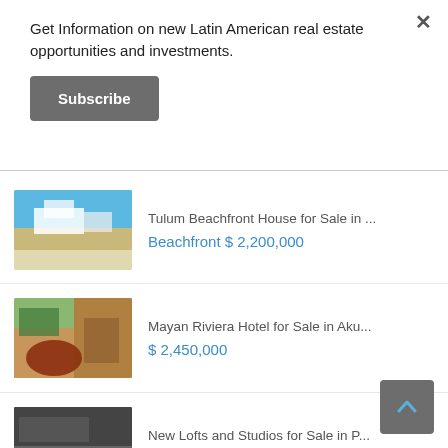Get Information on new Latin American real estate opportunities and investments.
Subscribe
Tulum Beachfront House for Sale in ...
Beachfront $ 2,200,000
Mayan Riviera Hotel for Sale in Aku...
$ 2,450,000
New Lofts and Studios for Sale in P...
From $ 136,900 to $206,000
Playa del Carmen Condo Investment i...
$ 189,420